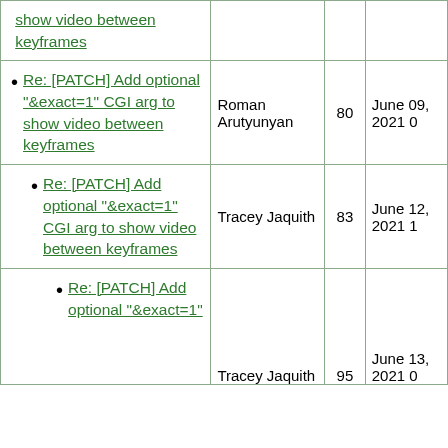show video between keyframes
Re: [PATCH] Add optional "&exact=1" CGI arg to show video between keyframes
Re: [PATCH] Add optional "&exact=1" CGI arg to show video between keyframes
Re: [PATCH] Add optional "&exact=1"